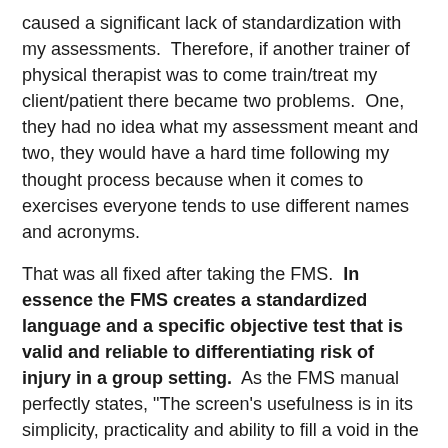caused a significant lack of standardization with my assessments.  Therefore, if another trainer of physical therapist was to come train/treat my client/patient there became two problems.  One, they had no idea what my assessment meant and two, they would have a hard time following my thought process because when it comes to exercises everyone tends to use different names and acronyms.
That was all fixed after taking the FMS.  In essence the FMS creates a standardized language and a specific objective test that is valid and reliable to differentiating risk of injury in a group setting.  As the FMS manual perfectly states, "The screen's usefulness is in its simplicity, practicality and ability to fill a void in the toolbox we use to judge performance and durability."
With the screen, FMS has also created an algorithm on how you should handle any dysfunction found during the screen.  So if for any reason I missed work and couldn't see my